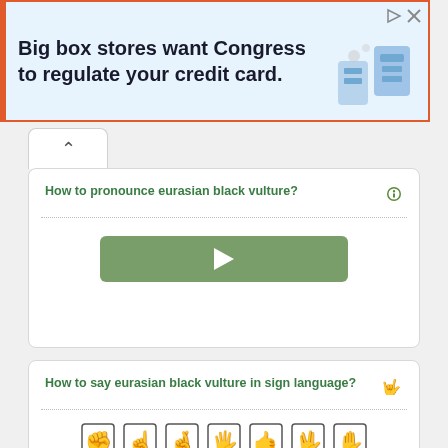[Figure (other): Advertisement banner: 'Big box stores want Congress to regulate your credit card.' with shopping imagery]
How to pronounce eurasian black vulture?
[Figure (other): Green play button for audio pronunciation]
How to say eurasian black vulture in sign language?
[Figure (other): Sign language hand gesture icons showing letters]